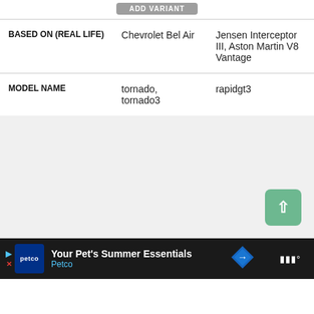|  | Column 1 | Column 2 |
| --- | --- | --- |
| BASED ON (REAL LIFE) | Chevrolet Bel Air | Jensen Interceptor III, Aston Martin V8 Vantage |
| MODEL NAME | tornado, tornado3 | rapidgt3 |
[Figure (screenshot): Gray content area with a green scroll-to-top button in the bottom right corner]
[Figure (screenshot): Advertisement banner: Petco - Your Pet's Summer Essentials]